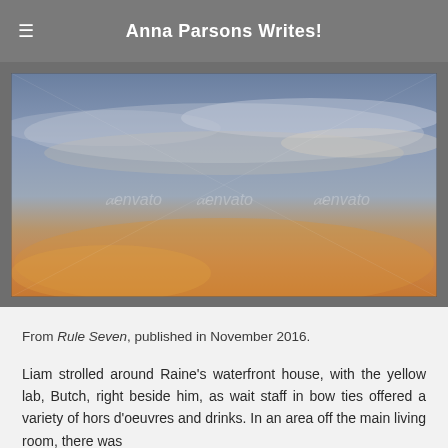Anna Parsons Writes!
[Figure (photo): A wide panoramic photograph of a sunset sky with golden and orange hues in the lower portion and blue-grey sky with wispy clouds above. Three 'envato' watermarks are visible across the image.]
From Rule Seven, published in November 2016.
Liam strolled around Raine's waterfront house, with the yellow lab, Butch, right beside him, as wait staff in bow ties offered a variety of hors d'oeuvres and drinks. In an area off the main living room, there was